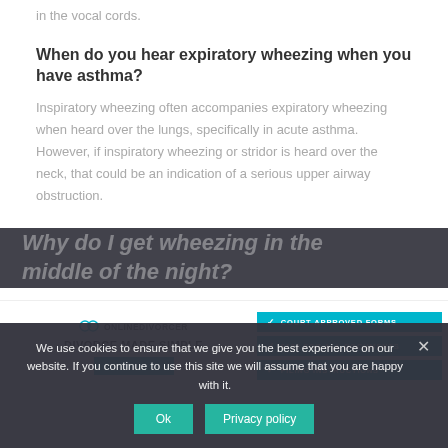in the vocal cords.
When do you hear expiratory wheezing when you have asthma?
Inspiratory wheezing often accompanies expiratory wheezing when heard over the lungs, specifically in acute asthma. However, if inspiratory wheezing or stridor is heard over the neck, that could be an indication of a serious upper airway obstruction.
[Figure (infographic): OnlineDivorcer advertisement with logo, 'DIVORCE MADE SIMPLE' tagline, and teal badges: COURT-APPROVED FORMS, $139 FOR ALL DOCUMENTS, FILING INSTRUCTIONS]
Why do I get wheezing in the middle of the night?
We use cookies to ensure that we give you the best experience on our website. If you continue to use this site we will assume that you are happy with it.